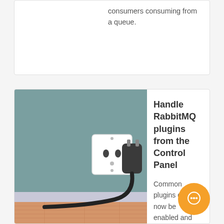consumers consuming from a queue.
[Figure (illustration): Illustration of an electrical plug being inserted into a wall socket, set against a teal/grey wall with a wooden floor below.]
Handle RabbitMQ plugins from the Control Panel
Common plugins can now be enabled and disabled from the control panel for your dedicated instances. To enable/disable a plugin, simply the details view of